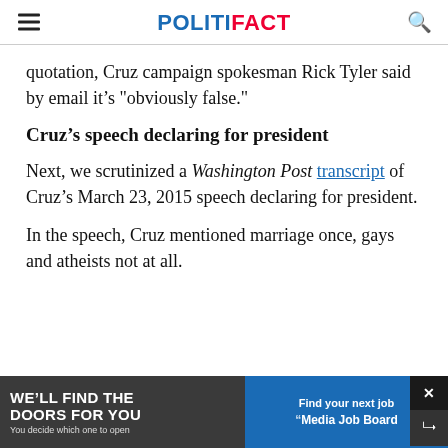POLITIFACT
quotation, Cruz campaign spokesman Rick Tyler said by email it’s "obviously false."
Cruz’s speech declaring for president
Next, we scrutinized a Washington Post transcript of Cruz’s March 23, 2015 speech declaring for president.
In the speech, Cruz mentioned marriage once, gays and atheists not at all.
[Figure (other): Advertisement banner: left side dark background with 'WE'LL FIND THE DOORS FOR YOU – You decide which one to open'; right side blue background with 'Find your next job – Media Job Board'. Overlay with close (x) and share buttons.]